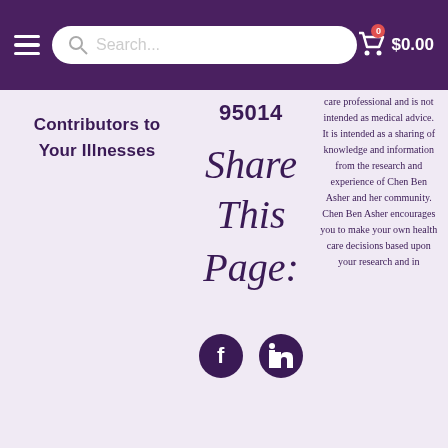Search... $0.00
Contributors to Your Illnesses
95014
[Figure (illustration): Handwritten-style cursive text reading 'Share This Page:' in dark purple]
[Figure (infographic): Facebook and LinkedIn social media icons in dark purple circles]
care professional and is not intended as medical advice. It is intended as a sharing of knowledge and information from the research and experience of Chen Ben Asher and her community. Chen Ben Asher encourages you to make your own health care decisions based upon your research and in partnership with